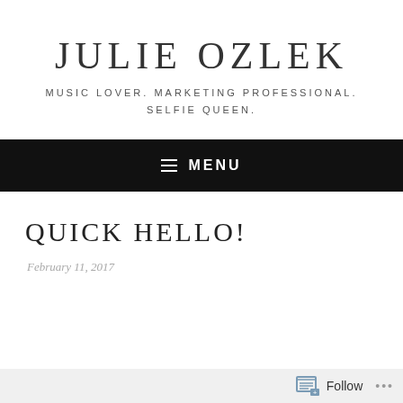JULIE OZLEK
MUSIC LOVER. MARKETING PROFESSIONAL. SELFIE QUEEN.
≡ MENU
QUICK HELLO!
February 11, 2017
Follow ...